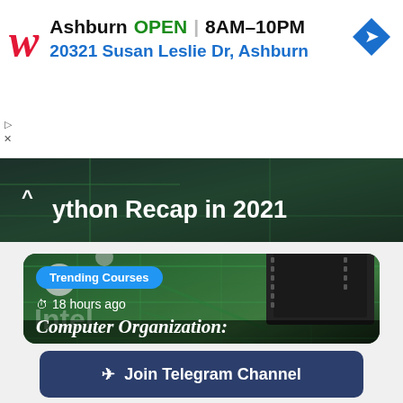[Figure (other): Walgreens advertisement banner showing store location in Ashburn, open hours 8AM-10PM, address 20321 Susan Leslie Dr Ashburn, with navigation arrow icon]
[Figure (photo): Partially visible article banner with dark circuit board background showing text 'Python Recap in 2021']
[Figure (photo): Close-up photo of a computer motherboard/circuit board with CPU chip, labeled 'Trending Courses', showing timestamp '18 hours ago' and partial title 'Computer Organization:']
Join Telegram Channel